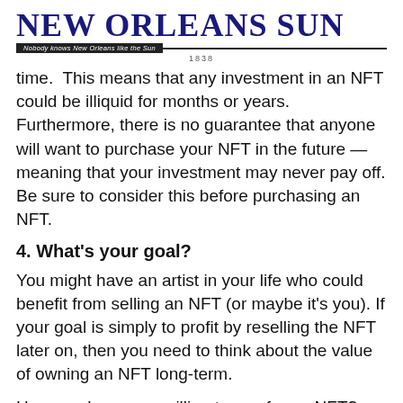NEW ORLEANS SUN — Nobody knows New Orleans like the Sun — 1838
time. This means that any investment in an NFT could be illiquid for months or years. Furthermore, there is no guarantee that anyone will want to purchase your NFT in the future — meaning that your investment may never pay off. Be sure to consider this before purchasing an NFT.
4. What's your goal?
You might have an artist in your life who could benefit from selling an NFT (or maybe it's you). If your goal is simply to profit by reselling the NFT later on, then you need to think about the value of owning an NFT long-term.
How much are you willing to pay for an NFT? There are many stories of people paying thousands of